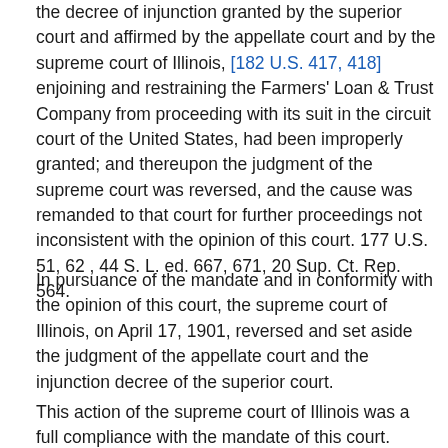the decree of injunction granted by the superior court and affirmed by the appellate court and by the supreme court of Illinois, [182 U.S. 417, 418]   enjoining and restraining the Farmers' Loan & Trust Company from proceeding with its suit in the circuit court of the United States, had been improperly granted; and thereupon the judgment of the supreme court was reversed, and the cause was remanded to that court for further proceedings not inconsistent with the opinion of this court. 177 U.S. 51, 62 , 44 S. L. ed. 667, 671, 20 Sup. Ct. Rep. 564.
In pursuance of the mandate and in conformity with the opinion of this court, the supreme court of Illinois, on April 17, 1901, reversed and set aside the judgment of the appellate court and the injunction decree of the superior court.
This action of the supreme court of Illinois was a full compliance with the mandate of this court.